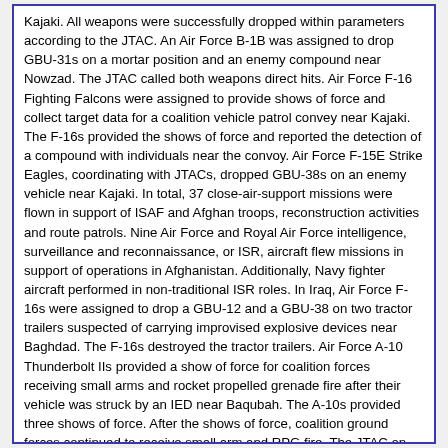Kajaki. All weapons were successfully dropped within parameters according to the JTAC. An Air Force B-1B was assigned to drop GBU-31s on a mortar position and an enemy compound near Nowzad. The JTAC called both weapons direct hits. Air Force F-16 Fighting Falcons were assigned to provide shows of force and collect target data for a coalition vehicle patrol convey near Kajaki. The F-16s provided the shows of force and reported the detection of a compound with individuals near the convoy. Air Force F-15E Strike Eagles, coordinating with JTACs, dropped GBU-38s on an enemy vehicle near Kajaki. In total, 37 close-air-support missions were flown in support of ISAF and Afghan troops, reconstruction activities and route patrols. Nine Air Force and Royal Air Force intelligence, surveillance and reconnaissance, or ISR, aircraft flew missions in support of operations in Afghanistan. Additionally, Navy fighter aircraft performed in non-traditional ISR roles. In Iraq, Air Force F-16s were assigned to drop a GBU-12 and a GBU-38 on two tractor trailers suspected of carrying improvised explosive devices near Baghdad. The F-16s destroyed the tractor trailers. Air Force A-10 Thunderbolt IIs provided a show of force for coalition forces receiving small arms and rocket propelled grenade fire after their vehicle was struck by an IED near Baqubah. The A-10s provided three shows of force. After the shows of force, coalition ground forces continued to receive small arm and RPG fire. The JTAC on the ground then passed coordinates for anti-Iraqi insurgents in an open area. The A-10s fired cannon rounds at enemy targets with all gun passes successful according to the JTAC. Coalition forces continued to receive small arms fire from anti-Iraqi